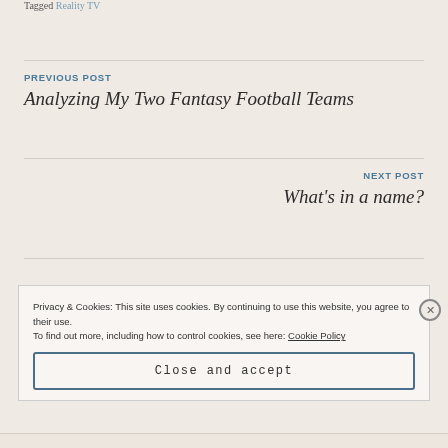Tagged Reality TV
PREVIOUS POST
Analyzing My Two Fantasy Football Teams
NEXT POST
What's in a name?
Privacy & Cookies: This site uses cookies. By continuing to use this website, you agree to their use.
To find out more, including how to control cookies, see here: Cookie Policy
Close and accept